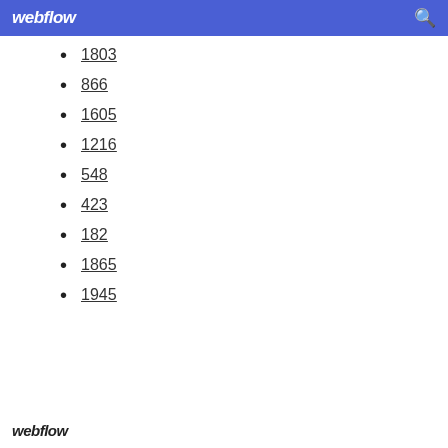webflow
1803
866
1605
1216
548
423
182
1865
1945
webflow